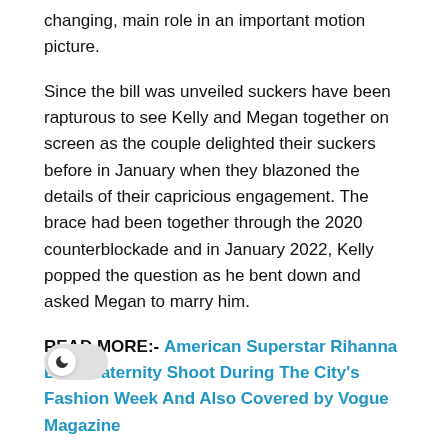changing, main role in an important motion picture.
Since the bill was unveiled suckers have been rapturous to see Kelly and Megan together on screen as the couple delighted their suckers before in January when they blazoned the details of their capricious engagement. The brace had been together through the 2020 counterblockade and in January 2022, Kelly popped the question as he bent down and asked Megan to marry him.
READ MORE:- American Superstar Rihanna Bold Maternity Shoot During The City's Fashion Week And Also Covered by Vogue Magazine
The brace preliminarily directed 2021's Downfalls High, a musical teen film grounded on his fifth plant reader Tickets to My Downfall, which premiered last January on Facebook Watch.